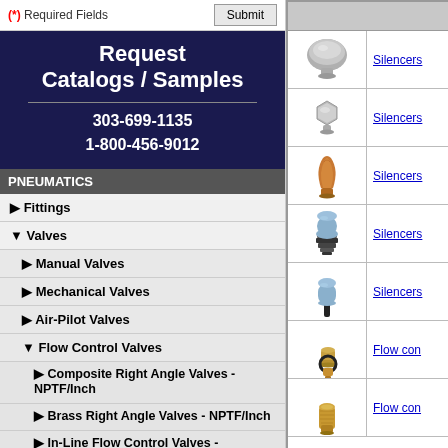(*) Required Fields
Submit
Request Catalogs / Samples
303-699-1135
1-800-456-9012
PNEUMATICS
▶ Fittings
▼ Valves
▶ Manual Valves
▶ Mechanical Valves
▶ Air-Pilot Valves
▼ Flow Control Valves
▶ Composite Right Angle Valves - NPTF/Inch
▶ Brass Right Angle Valves - NPTF/Inch
▶ In-Line Flow Control Valves - NPTF/Inch
▶ Composite Right Angle Valves - BSP/Metric
▶ Right Angle Valves - BSP/Metric
[Figure (photo): Silencer product - round metal knob/cap silencer]
Silencers
[Figure (photo): Silencer product - hexagonal chrome metal silencer]
Silencers
[Figure (photo): Silencer product - bronze/copper conical sintered silencer]
Silencers
[Figure (photo): Silencer product - blue cylindrical plastic silencer with black threaded base]
Silencers
[Figure (photo): Silencer product - blue cylindrical plastic silencer with black threaded stem]
Silencers
[Figure (photo): Flow control valve - brass with black o-ring and threaded fitting]
Flow con
[Figure (photo): Flow control valve - brass cylindrical sintered fitting]
Flow con